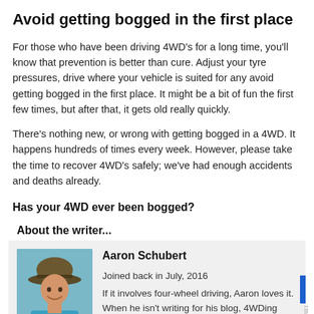Avoid getting bogged in the first place
For those who have been driving 4WD's for a long time, you'll know that prevention is better than cure. Adjust your tyre pressures, drive where your vehicle is suited for any avoid getting bogged in the first place. It might be a bit of fun the first few times, but after that, it gets old really quickly.
There's nothing new, or wrong with getting bogged in a 4WD. It happens hundreds of times every week. However, please take the time to recover 4WD's safely; we've had enough accidents and deaths already.
Has your 4WD ever been bogged?
About the writer...
Aaron Schubert
Joined back in July, 2016
If it involves four-wheel driving, Aaron loves it. When he isn't writing for his blog, 4WDing